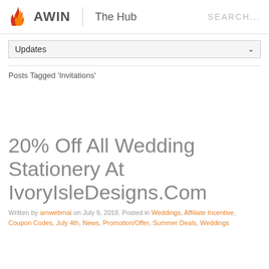AWIN | The Hub   SEARCH...
Updates (dropdown)
Posts Tagged 'Invitations'
20% Off All Wedding Stationery At IvoryIsleDesigns.Com
Written by amwebmai on July 9, 2018. Posted in Weddings, Affiliate Incentive, Coupon Codes, July 4th, News, Promotion/Offer, Summer Deals, Weddings